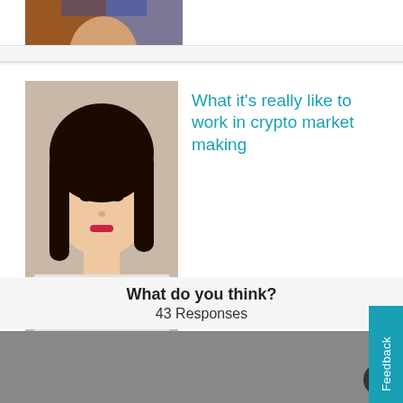[Figure (photo): Partial view of a person's photo at top of page (cropped)]
[Figure (photo): Portrait photo of an Asian woman with dark hair and red lipstick]
What it's really like to work in crypto market making
[Figure (photo): Portrait photo of a man with glasses and dark suit]
Ex-Morgan Stanley MD's cryp millions show it's not over
What do you think?
43 Responses